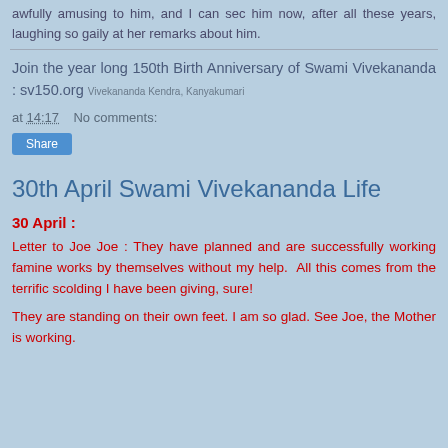awfully amusing to him, and I can sec him now, after all these years, laughing so gaily at her remarks about him.
Join the year long 150th Birth Anniversary of Swami Vivekananda : sv150.org  Vivekananda Kendra, Kanyakumari
at 14:17   No comments:
Share
30th April Swami Vivekananda Life
30 April :
Letter to Joe Joe : They have planned and are successfully working famine works by themselves without my help.  All this comes from the terrific scolding I have been giving, sure!
They are standing on their own feet. I am so glad. See Joe, the Mother is working.